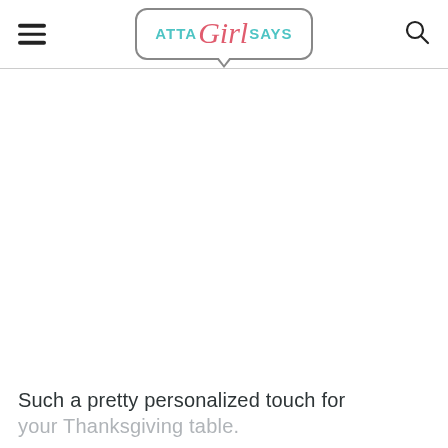ATTA Girl SAYS
[Figure (illustration): Large white/blank content area below the site header, representing an image placeholder or loading image area]
Such a pretty personalized touch for your Thanksgiving table.